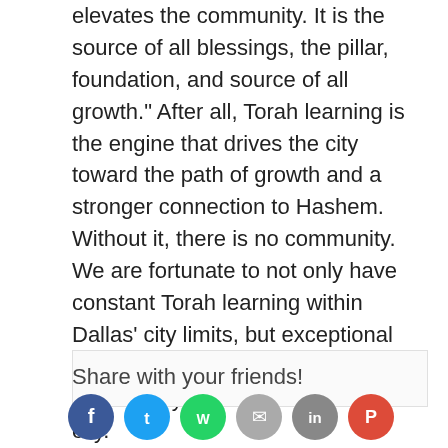elevates the community. It is the source of all blessings, the pillar, foundation, and source of all growth." After all, Torah learning is the engine that drives the city toward the path of growth and a stronger connection to Hashem. Without it, there is no community. We are fortunate to not only have constant Torah learning within Dallas' city limits, but exceptional rabbis and rebbetzins within the kollel. They are truly the vitality of a city.
Share with your friends!
[Figure (infographic): Row of social media sharing icon circles: Facebook (blue), Twitter (light blue), WhatsApp (green), Email/Link (gray), another gray circle, Pinterest/Google (red)]